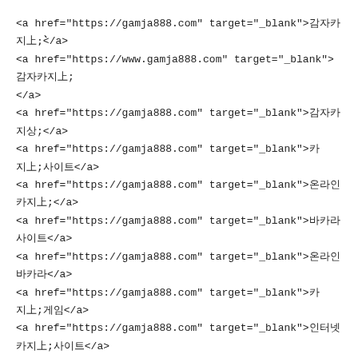<a href="https://gamja888.com" target="_blank">감자카지노</a>
<a href="https://www.gamja888.com" target="_blank">감자카지노</a>
<a href="https://gamja888.com" target="_blank">감자카지노</a>
<a href="https://gamja888.com" target="_blank">카지노사이트</a>
<a href="https://gamja888.com" target="_blank">온라인카지노</a>
<a href="https://gamja888.com" target="_blank">바카라사이트</a>
<a href="https://gamja888.com" target="_blank">온라인바카라</a>
<a href="https://gamja888.com" target="_blank">카지노게임</a>
<a href="https://gamja888.com" target="_blank">인터넷카지노</a>
<a href="https://gamja888.com" target="_blank">카지노사이트추천</a>
<a href="https://gamja888.com" target="_blank">감자 카지노</a>
<a href="https://gamja888.com" target="_blank">퀸즈슬롯</a>
<a href="https://gamja888.com" target="_blank">플레이앤고</a>
<a href="https://gamja888.com" target="_blank">라이브 카지노</a>
<a href="https://gamja888.com" target="_blank">슬롯머신사이트</a>
<a href="https://gamja888.com" target="_blank">바카라사이트</a>